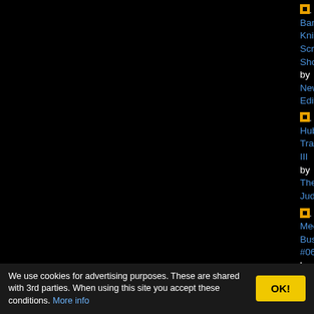Bangkok Knights Screen Shots by New Edition ... 1987 One-File D
Hubbard Track III by The Judges ... 1987 One-File D
Mechanix Bust #06 by Mechanix ... 1987 One-File D
Bangkok Knights Music by Epiphany ... 1987 One-File D
Bangkok Knights Music by Elite Cracking Service ... 1987 Music
Bangkok Knights Demo by Future Software Spy's 1969 ... 1987 One-File D
One Night in Bangkok by Xenon ... 1987 One-File D
Jukebox I by Software Dreams International ... 1987 Music Co
Saxxons Attack by Dynamic Cracking Art, The Saxxons Crew ... ???? One-File D
Vile Verdict by Men at Work ... ???? One-File D
Johnny Hau Rein by The New Season ... ???? One-File D
Knights by Knight by Formby ... ???? One-File D
We use cookies for advertising purposes. These are shared with 3rd parties. When using this site you accept these conditions. More info